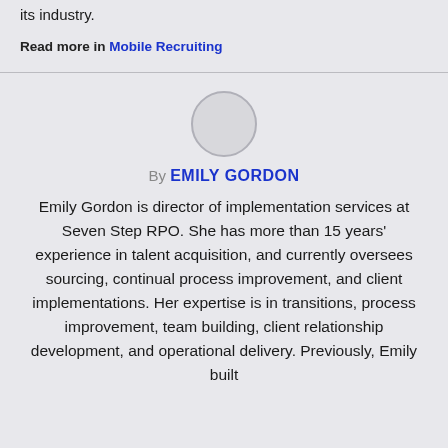its industry.
Read more in Mobile Recruiting
[Figure (illustration): Circular avatar placeholder image (empty profile photo circle)]
By EMILY GORDON
Emily Gordon is director of implementation services at Seven Step RPO. She has more than 15 years' experience in talent acquisition, and currently oversees sourcing, continual process improvement, and client implementations. Her expertise is in transitions, process improvement, team building, client relationship development, and operational delivery. Previously, Emily built